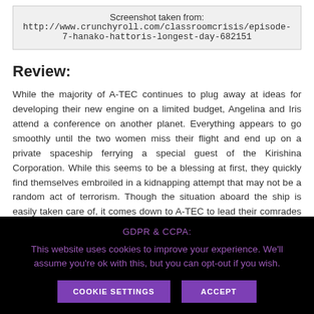[Figure (screenshot): Screenshot reference box with URL to crunchyroll.com classroom crisis episode 7]
Review:
While the majority of A-TEC continues to plug away at ideas for developing their new engine on a limited budget, Angelina and Iris attend a conference on another planet. Everything appears to go smoothly until the two women miss their flight and end up on a private spaceship ferrying a special guest of the Kirishina Corporation. While this seems to be a blessing at first, they quickly find themselves embroiled in a kidnapping attempt that may not be a random act of terrorism. Though the situation aboard the ship is easily taken care of, it comes down to A-TEC to lead their comrades back home.
This episode is, first and foremost, a good effort at building some camaraderie between Angelina and Iris. While the two can hardly be
GDPR & CCPA:
This website uses cookies to improve your experience. We'll assume you're ok with this, but you can opt-out if you wish.
COOKIE SETTINGS   ACCEPT